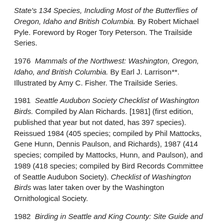State's 134 Species, Including Most of the Butterflies of Oregon, Idaho and British Columbia. By Robert Michael Pyle. Foreword by Roger Tory Peterson. The Trailside Series.
1976  Mammals of the Northwest: Washington, Oregon, Idaho, and British Columbia. By Earl J. Larrison**. Illustrated by Amy C. Fisher. The Trailside Series.
1981  Seattle Audubon Society Checklist of Washington Birds. Compiled by Alan Richards. [1981] (first edition, published that year but not dated, has 397 species). Reissued 1984 (405 species; compiled by Phil Mattocks, Gene Hunn, Dennis Paulson, and Richards), 1987 (414 species; compiled by Mattocks, Hunn, and Paulson), and 1989 (418 species; compiled by Bird Records Committee of Seattle Audubon Society). Checklist of Washington Birds was later taken over by the Washington Ornithological Society.
1982  Birding in Seattle and King County: Site Guide and Annotated List. By Eugene S. Hunn. The Trailside Series.
1986  Natural History of the Wenas, Washington Area. By Earl J. Larrison**. Illustrations and map by Gregory A. Pole. The Trailside Series.
1993  Amphibians of Washington and Oregon. By William P. Leonard,